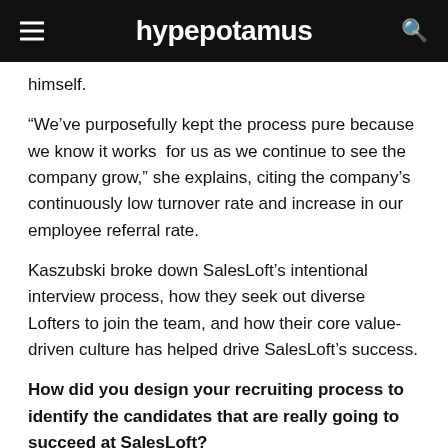hypepotamus
himself.
“We’ve purposefully kept the process pure because we know it works  for us as we continue to see the company grow,” she explains, citing the company’s continuously low turnover rate and increase in our employee referral rate.
Kaszubski broke down SalesLoft’s intentional interview process, how they seek out diverse Lofters to join the team, and how their core value-driven culture has helped drive SalesLoft’s success.
How did you design your recruiting process to identify the candidates that are really going to succeed at SalesLoft?